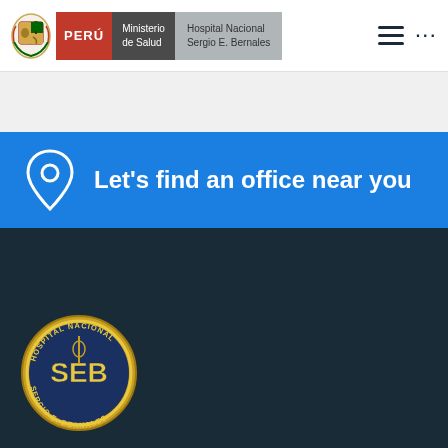PERÚ | Ministerio de Salud | Hospital Nacional Sergio E. Bernales
[Figure (infographic): Blue banner with location pin icon and text: Let's find an office near you]
[Figure (logo): Hospital Nacional Sergio E. Bernales circular seal/logo on dark background]